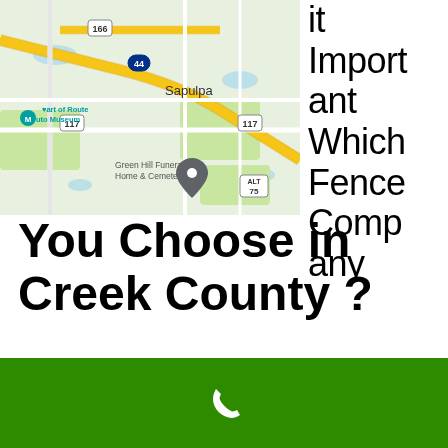[Figure (map): Google Maps screenshot showing Sapulpa area in Creek County, Oklahoma. Shows roads, route 44, route 166, route 117, Green Hill Funeral Home & Cemetery with a map pin, Heart of Route 66 Auto Museum, and surrounding streets in yellow and white on a light green/white background.]
it Important Which Fence Company You Choose in Creek County ?
If you look at civilizations throughout